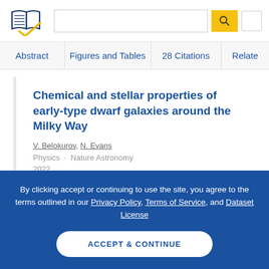[Figure (logo): Semantic Scholar logo - stylized open book with blue and gold checkmark]
Chemical and stellar properties of early-type dwarf galaxies around the Milky Way
V. Belokurov, N. Evans
Physics · Nature Astronomy
2022
By clicking accept or continuing to use the site, you agree to the terms outlined in our Privacy Policy, Terms of Service, and Dataset License
ACCEPT & CONTINUE